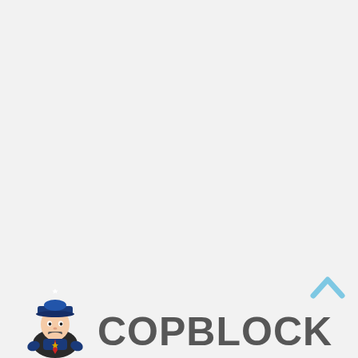[Figure (logo): CopBlock website logo consisting of a cartoon police officer mascot on the left and the text COPBLOCK in large bold gray letters, with a light blue chevron/up-arrow icon in the upper right of the logo area.]